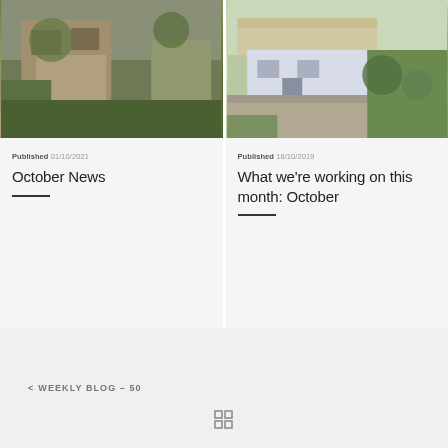[Figure (photo): Photo of a stone building with ivy and green garden in front]
Published 01/10/2021
October News
[Figure (photo): Photo of a thatched cottage with stone wall and lush garden]
Published 18/10/2019
What we're working on this month: October
< WEEKLY BLOG – 50